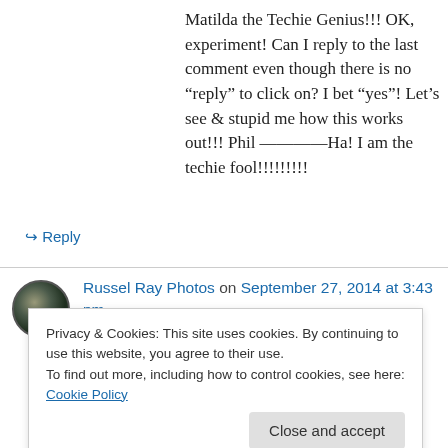Matilda the Techie Genius!!! OK, experiment! Can I reply to the last comment even though there is no “reply” to click on? I bet “yes”! Let’s see & stupid me how this works out!!! Phil ————Ha! I am the techie fool!!!!!!!!!
↪ Reply
Russel Ray Photos on September 27, 2014 at 3:43 pm
I think income inequality is going to be the
Privacy & Cookies: This site uses cookies. By continuing to use this website, you agree to their use. To find out more, including how to control cookies, see here: Cookie Policy
like San Diego and Los Angeles have no water